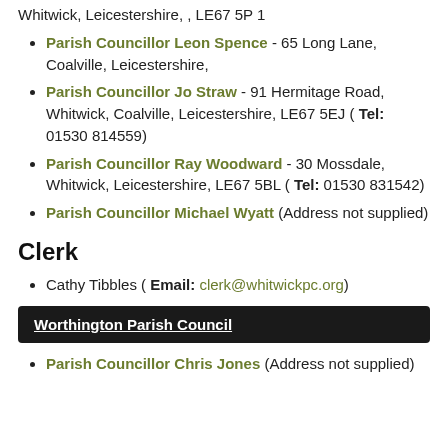Parish Councillor Leon Spence - 65 Long Lane, Coalville, Leicestershire,
Parish Councillor Jo Straw - 91 Hermitage Road, Whitwick, Coalville, Leicestershire, LE67 5EJ ( Tel: 01530 814559)
Parish Councillor Ray Woodward - 30 Mossdale, Whitwick, Leicestershire, LE67 5BL ( Tel: 01530 831542)
Parish Councillor Michael Wyatt (Address not supplied)
Clerk
Cathy Tibbles ( Email: clerk@whitwickpc.org)
Worthington Parish Council
Parish Councillor Chris Jones (Address not supplied)